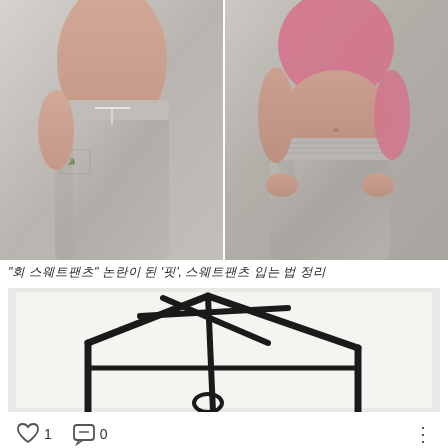[Figure (photo): Side-by-side photos of two people wearing grey sweatpants. Left: light grey Lacoste sweatpants with drawstring. Right: grey sweatpants with hands in pockets, wearing a pink crop top.]
"회 스웨트팬츠" 논란이 된 '핏', 스웨트팬츠 입는 법 정리
[Figure (illustration): Hand-drawn illustration of a house shape made with thick black marker lines on white/light background, forming a stylized house outline with roof and walls.]
♡ 1   💬 0